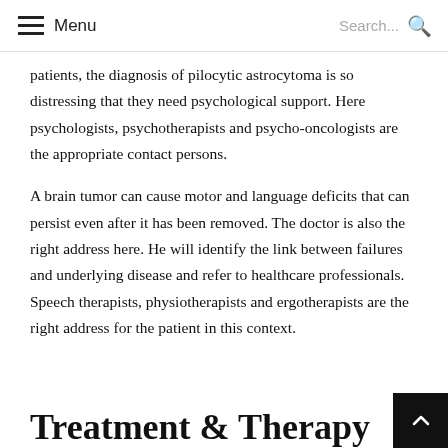Menu  Search...
patients, the diagnosis of pilocytic astrocytoma is so distressing that they need psychological support. Here psychologists, psychotherapists and psycho-oncologists are the appropriate contact persons.
A brain tumor can cause motor and language deficits that can persist even after it has been removed. The doctor is also the right address here. He will identify the link between failures and underlying disease and refer to healthcare professionals. Speech therapists, physiotherapists and ergotherapists are the right address for the patient in this context.
Treatment & Therapy